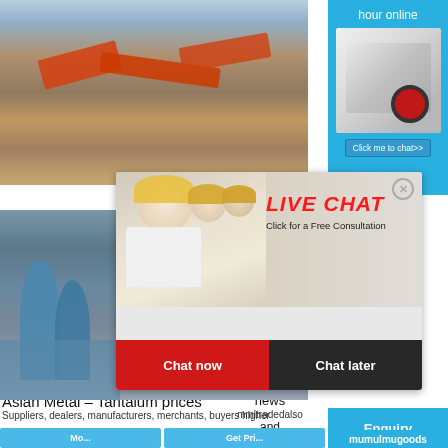[Figure (photo): Industrial mining/quarry facility with orange conveyor belts and heavy machinery]
[Figure (photo): Live chat popup overlay with workers in yellow hard hats, red LIVE CHAT title, 'Click for a Free Consultation' subtitle, Chat now and Chat later buttons]
[Figure (photo): Industrial plant with blue silo tanks and yellow scaffolding structures]
[Figure (photo): Right sidebar with white crusher machine image and blue background]
hour online
Click me to chat>>
Enquiry
Asian Metal – Tantalum prices
Suppliers, dealers, manufacturers, merchants, buyers higher
news
and
mumulmugoods